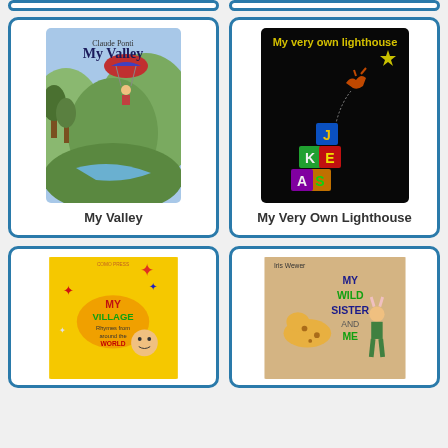[Figure (illustration): Book cover: My Valley by Claude Ponti, showing a child with colorful umbrella floating over a lush valley landscape]
My Valley
[Figure (illustration): Book cover: My Very Own Lighthouse, dark black background with colorful letter blocks stacked and a glowing star, a creature climbing]
My Very Own Lighthouse
[Figure (illustration): Book cover: My Village - Rhymes from around the World, yellow background with colorful MY VILLAGE text and children illustrations]
[Figure (illustration): Book cover: My Wild Sister and Me by Iris Wewer, tan background with illustrated wild animals and children]